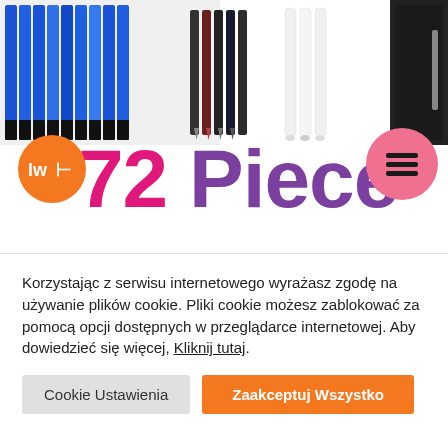[Figure (photo): Product images at top: colored pencils/pens in blue, dark colored pens, white styluses, and a black leather case/notebook partially visible]
[Figure (logo): Orange circular logo bubble with 'LWH' text/icon inside]
72 Piece
[Figure (other): Pink/salmon circular hamburger menu button with three horizontal lines]
[Figure (photo): Bottom stripe showing a black zippered pencil case with a silver pen/stylus visible]
Korzystając z serwisu internetowego wyrażasz zgodę na używanie plików cookie. Pliki cookie możesz zablokować za pomocą opcji dostępnych w przeglądarce internetowej. Aby dowiedzieć się więcej, Kliknij tutaj.
Cookie Ustawienia
Zaakceptuj Wszystko